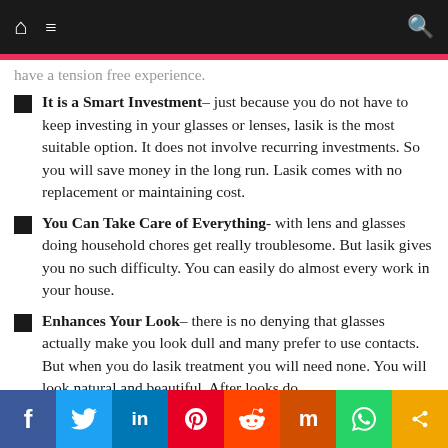Navigation bar with home, menu, and search icons
It is a Smart Investment– just because you do not have to keep investing in your glasses or lenses, lasik is the most suitable option. It does not involve recurring investments. So you will save money in the long run. Lasik comes with no replacement or maintaining cost.
You Can Take Care of Everything- with lens and glasses doing household chores get really troublesome. But lasik gives you no such difficulty. You can easily do almost every work in your house.
Enhances Your Look– there is no denying that glasses actually make you look dull and many prefer to use contacts. But when you do lasik treatment you will need none. You will look natural and beautiful. After looks do
Social share bar: Facebook, Twitter, LinkedIn, Pinterest, Reddit, Mix, WhatsApp, Share